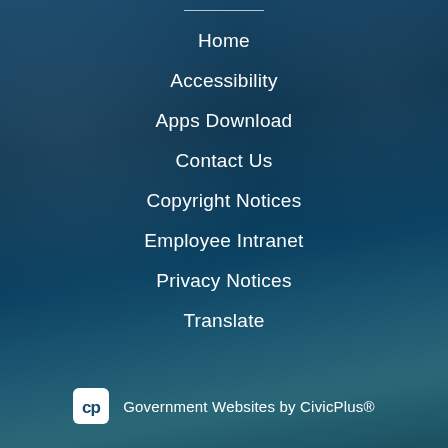Home
Accessibility
Apps Download
Contact Us
Copyright Notices
Employee Intranet
Privacy Notices
Translate
Government Websites by CivicPlus®